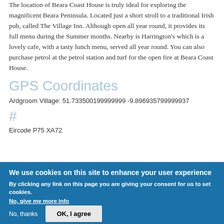The location of Beara Coast House is truly ideal for exploring the magnificent Beara Peninsula. Located just a short stroll to a traditional Irish pub, called The Village Inn. Although open all year round, it provides its full menu during the Summer months. Nearby is Harrington's which is a lovely cafe, with a tasty lunch menu, served all year round. You can also purchase petrol at the petrol station and turf for the open fire at Beara Coast House.
GPS Coordinates
Ardgroom Village: 51.733500199999999 -9.896935799999937
#
Eircode P75 XA72
We use cookies on this site to enhance your user experience
By clicking any link on this page you are giving your consent for us to set cookies. No, give me more info
No, thanks
OK, I agree